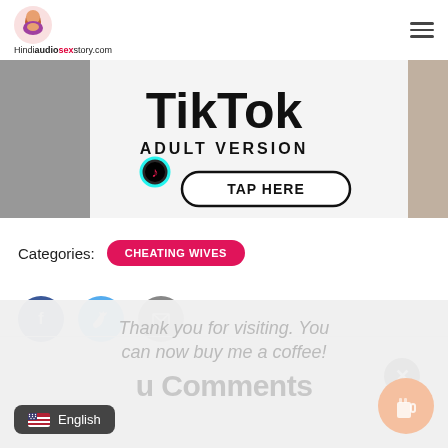Hindiaudiose xstory.com
[Figure (screenshot): TikTok Adult Version banner advertisement with 'TAP HERE' button]
Categories: CHEATING WIVES
[Figure (infographic): Social share buttons: Facebook, Twitter, Email]
Thank you for visiting. You can now buy me a coffee!
u Comments
English